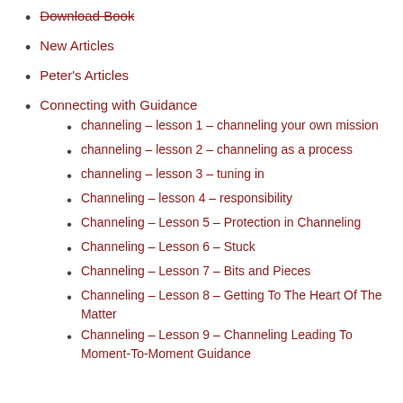Download Book
New Articles
Peter's Articles
Connecting with Guidance
channeling – lesson 1 – channeling your own mission
channeling – lesson 2 – channeling as a process
channeling – lesson 3 – tuning in
Channeling – lesson 4 – responsibility
Channeling – Lesson 5 – Protection in Channeling
Channeling – Lesson 6 – Stuck
Channeling – Lesson 7 – Bits and Pieces
Channeling – Lesson 8 – Getting To The Heart Of The Matter
Channeling – Lesson 9 – Channeling Leading To Moment-To-Moment Guidance